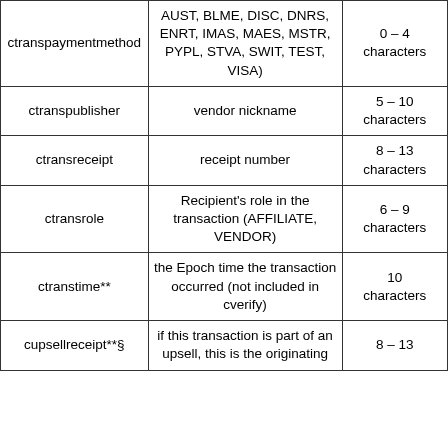| Field | Description | Length |
| --- | --- | --- |
| ctranspaymentmethod | AUST, BLME, DISC, DNRS, ENRT, IMAS, MAES, MSTR, PYPL, STVA, SWIT, TEST, VISA) | 0 – 4 characters |
| ctranspublisher | vendor nickname | 5 – 10 characters |
| ctransreceipt | receipt number | 8 – 13 characters |
| ctransrole | Recipient's role in the transaction (AFFILIATE, VENDOR) | 6 – 9 characters |
| ctranstime** | the Epoch time the transaction occurred (not included in cverify) | 10 characters |
| cupsellreceipt**§ | if this transaction is part of an upsell, this is the originating | 8 – 13 |